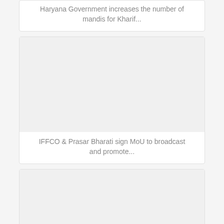Haryana Government increases the number of mandis for Kharif...
[Figure (photo): Empty image placeholder for IFFCO & Prasar Bharati article]
IFFCO & Prasar Bharati sign MoU to broadcast and promote...
[Figure (photo): Empty image placeholder for third article card]